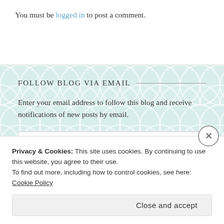You must be logged in to post a comment.
FOLLOW BLOG VIA EMAIL
Enter your email address to follow this blog and receive notifications of new posts by email.
Enter your email address
FOLLOW
Privacy & Cookies: This site uses cookies. By continuing to use this website, you agree to their use.
To find out more, including how to control cookies, see here: Cookie Policy
Close and accept